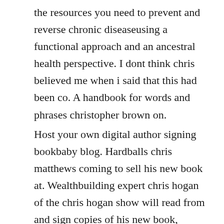the resources you need to prevent and reverse chronic diseaseusing a functional approach and an ancestral health perspective. I dont think chris believed me when i said that this had been co. A handbook for words and phrases christopher brown on.
Host your own digital author signing bookbaby blog. Hardballs chris matthews coming to sell his new book at. Wealthbuilding expert chris hogan of the chris hogan show will read from and sign copies of his new book, everyday millionaire. The